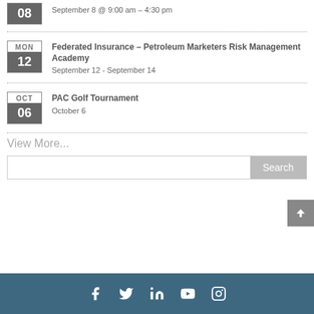08 — September 8 @ 9:00 am - 4:30 pm
Federated Insurance – Petroleum Marketers Risk Management Academy
September 12 - September 14
PAC Golf Tournament
October 6
View More...
[Figure (other): Search bar with text input and Search button]